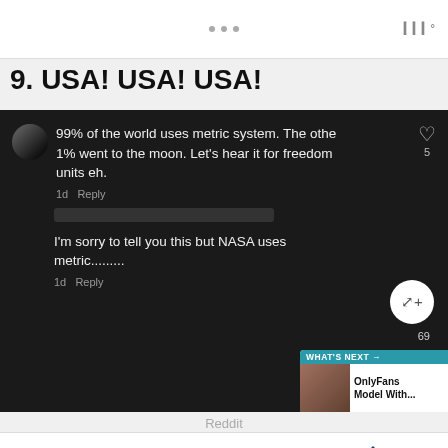9. USA! USA! USA!
[Figure (screenshot): Dark-themed social media screenshot showing two comments. First comment: '99% of the world uses metric system. The othe 1% went to the moon. Let's hear it for freedom units eh.' with 5 likes. Second comment: 'I'm sorry to tell you this but NASA uses metric........' with 69 likes. Share button visible. 'WHAT'S NEXT' panel showing 'OnlyFans Model With...']
Reddit
[Figure (other): Walgreens advertisement banner: 'Shop with Walgreens and Save / Walgreens Photo' with Walgreens W logo, play button, navigation diamond icon, and 10 label on the left.]